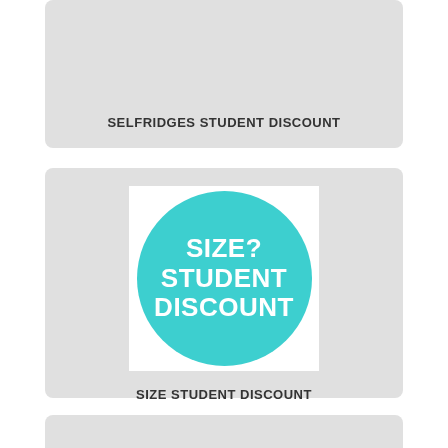[Figure (other): Gray card placeholder for Selfridges Student Discount]
SELFRIDGES STUDENT DISCOUNT
[Figure (logo): Teal circle logo with text SIZE? STUDENT DISCOUNT in white bold uppercase]
SIZE STUDENT DISCOUNT
[Figure (other): Gray card placeholder at bottom, partially visible]